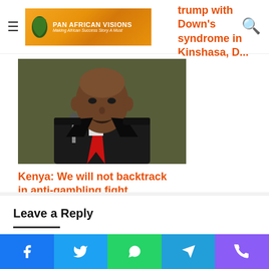Pan African Visions - Making African Success Story A Must
trump with Down's syndrome in Kinshasa, D...
[Figure (photo): Photograph of a man in a dark suit with a red tie, appearing to speak at a microphone, with a green background.]
Kenya: We will not backtrack in anti-gambling fight saysMatiangi
Leave a Reply
Your email address will not be published. Required fields are marked *